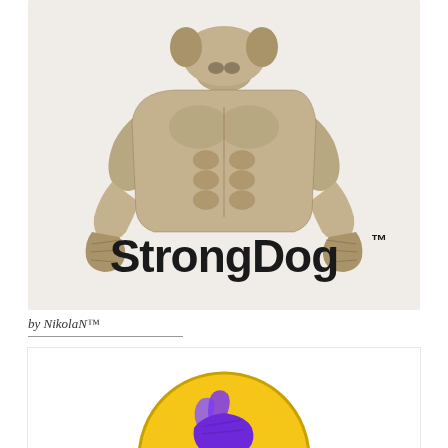[Figure (logo): StrongDog logo: muscular dog character (torso only, bulldog-like) flexing arms with fists raised, in tan/brown tones, above bold text 'StrongDog' with TM superscript, on a warm light beige/off-white background]
by NikolaN™
[Figure (logo): Partial logo visible at bottom: yellow/gold circular badge with a fist graphic in purple/dark tones, partially cropped at page bottom]